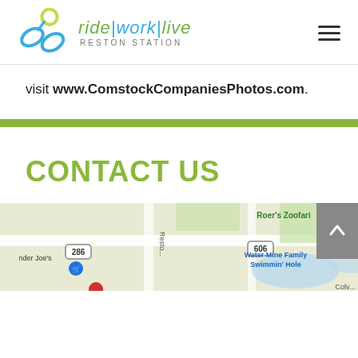ride|work|live RESTON STATION
visit www.ComstockCompaniesPhotos.com.
CONTACT US
[Figure (map): Google Maps showing location near Reston Station, with labels for Roer's Zoofari, Water Mine Family Swimmin' Hole, route 286, route 606, Trader Joe's, and Reston road]